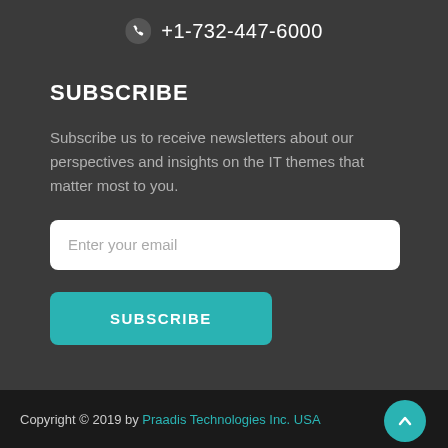+1-732-447-6000
SUBSCRIBE
Subscribe us to receive newsletters about our perspectives and insights on the IT themes that matter most to you.
[Figure (other): Email input field with placeholder text 'Enter your email']
[Figure (other): Teal SUBSCRIBE button]
Copyright © 2019 by Praadis Technologies Inc. USA